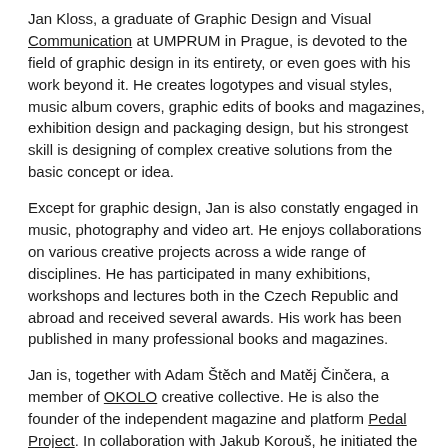Jan Kloss, a graduate of Graphic Design and Visual Communication at UMPRUM in Prague, is devoted to the field of graphic design in its entirety, or even goes with his work beyond it. He creates logotypes and visual styles, music album covers, graphic edits of books and magazines, exhibition design and packaging design, but his strongest skill is designing of complex creative solutions from the basic concept or idea.
Except for graphic design, Jan is also constatly engaged in music, photography and video art. He enjoys collaborations on various creative projects across a wide range of disciplines. He has participated in many exhibitions, workshops and lectures both in the Czech Republic and abroad and received several awards. His work has been published in many professional books and magazines.
Jan is, together with Adam Štěch and Matěj Činčera, a member of OKOLO creative collective. He is also the founder of the independent magazine and platform Pedal Project. In collaboration with Jakub Korouš, he initiated the BOTAS 66 label and he works as its exclusive designer and official seller. Since 2014, he has been teaching graphic design, together with Matěj Činčera, at Scholastika school of visual communications.